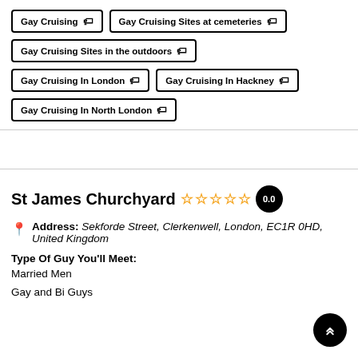Gay Cruising 🏷
Gay Cruising Sites at cemeteries 🏷
Gay Cruising Sites in the outdoors 🏷
Gay Cruising In London 🏷
Gay Cruising In Hackney 🏷
Gay Cruising In North London 🏷
St James Churchyard ☆☆☆☆☆ 0.0
Address: Sekforde Street, Clerkenwell, London, EC1R 0HD, United Kingdom
Type Of Guy You'll Meet:
Married Men
Gay and Bi Guys